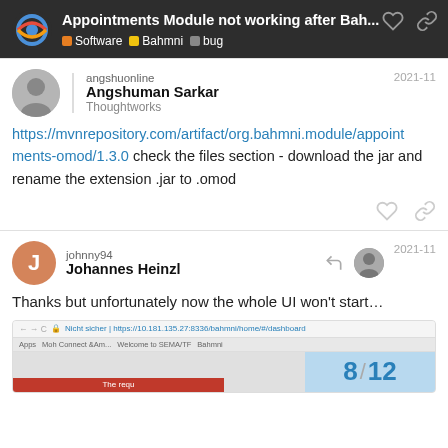Appointments Module not working after Bah... | Software | Bahmni | bug
angshuonline
Angshuman Sarkar
Thoughtworks
2021-11
https://mvnrepository.com/artifact/org.bahmni.module/appointments-omod/1.3.0 check the files section - download the jar and rename the extension .jar to .omod
johnny94
Johannes Heinzl
2021-11
Thanks but unfortunately now the whole UI won't start...
[Figure (screenshot): Browser screenshot showing address bar with URL https://10.181.135.27:8336/bahmni/home/#/dashboard and browser bookmarks bar. Bottom portion cut off showing a red error element.]
8 / 12